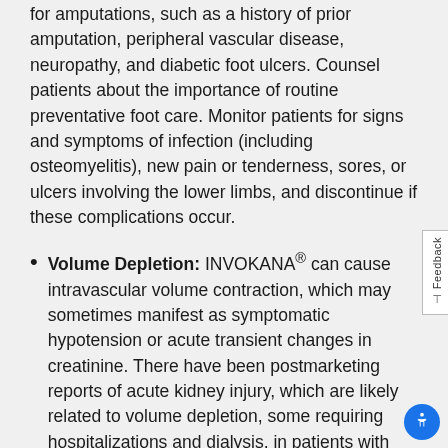for amputations, such as a history of prior amputation, peripheral vascular disease, neuropathy, and diabetic foot ulcers. Counsel patients about the importance of routine preventative foot care. Monitor patients for signs and symptoms of infection (including osteomyelitis), new pain or tenderness, sores, or ulcers involving the lower limbs, and discontinue if these complications occur.
Volume Depletion: INVOKANA® can cause intravascular volume contraction, which may sometimes manifest as symptomatic hypotension or acute transient changes in creatinine. There have been postmarketing reports of acute kidney injury, which are likely related to volume depletion, some requiring hospitalizations and dialysis, in patients with type 2 diabetes mellitus receiving SGLT2 inhibitors, including INVOKANA®. Patients with impaired renal function (eGFR less than 60 mL/min/1.73 m²), elderly patients, or patients on loop diuretics may be at increased risk for volume depletion or hypotension. Before initiating